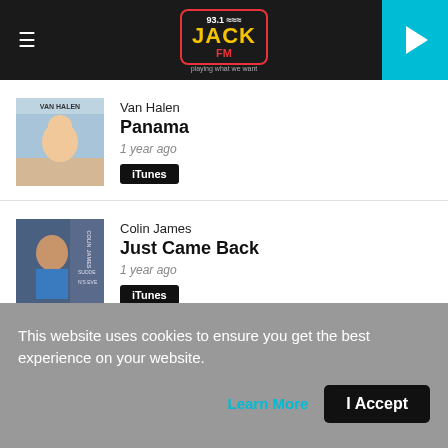93.1 JACK FM — playing what we want
[Figure (screenshot): Van Halen album art showing baby crawling on beach]
Van Halen
Panama
1 year ago
[Figure (screenshot): Colin James album art - Suddenly It's Eve]
Colin James
Just Came Back
1 year ago
This website uses cookies to ensure you get the best experience on your website.
Learn More   I Accept